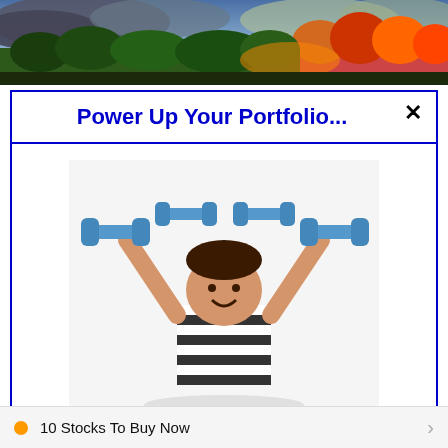[Figure (photo): Landscape photo banner showing autumn trees, mountains, and cloudy sky]
Power Up Your Portfolio...
[Figure (photo): Child with arms raised holding illustrated cartoon dumbbells overhead, wearing striped shirt]
Anyone lucky enough to get in early on the best penny stocks knows the power they can have on a portfolio… And these four companies have all experienced game-changing breakthroughs and true market disruption. Click here and I'll send you the names and ticker symbols of all four stocks.
>>> See The List <<<
10 Stocks To Buy Now